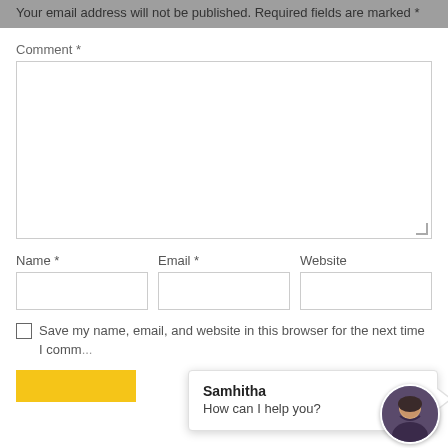Your email address will not be published. Required fields are marked *
Comment *
[Figure (screenshot): Empty comment textarea input box with resize handle]
Name *
[Figure (screenshot): Empty Name text input box]
Email *
[Figure (screenshot): Empty Email text input box]
Website
[Figure (screenshot): Empty Website text input box]
Save my name, email, and website in this browser for the next time I comm...
[Figure (screenshot): Chat popup with Samhitha avatar saying 'How can I help you?' and profile photo]
Samhitha
How can I help you?